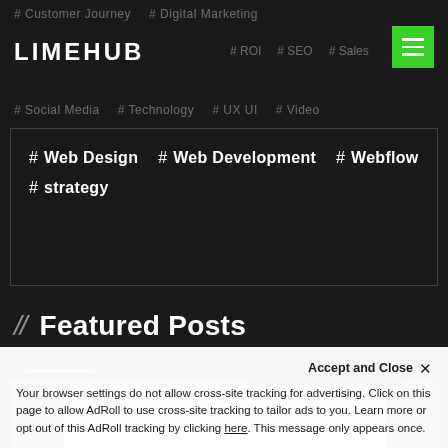LIMEHUB
#Customer Journey #Digital Marketing
#ROI #SEO #Sales
#Social Media #Technology #UX UI #Video
#Web Design #Web Development #Webflow #strategy
// Featured Posts
[Figure (screenshot): Screenshot of a website or web app displayed on a laptop, on a brick background. Green accent bar above image.]
Accept and Close ✕
Your browser settings do not allow cross-site tracking for advertising. Click on this page to allow AdRoll to use cross-site tracking to tailor ads to you. Learn more or opt out of this AdRoll tracking by clicking here. This message only appears once.